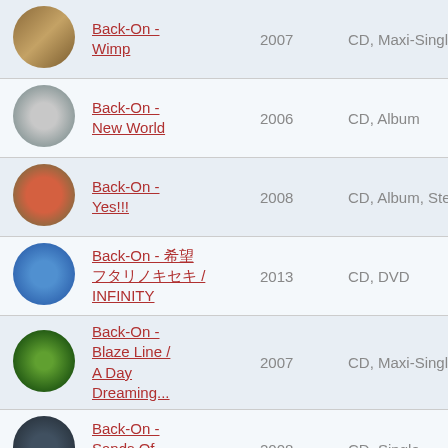| Image | Title | Year | Format |
| --- | --- | --- | --- |
| [album art] | Back-On - Wimp | 2007 | CD, Maxi-Single |
| [album art] | Back-On - New World | 2006 | CD, Album |
| [album art] | Back-On - Yes!!! | 2008 | CD, Album, Stereo |
| [album art] | Back-On - 希望 フタリノキセキ / INFINITY | 2013 | CD, DVD |
| [album art] | Back-On - Blaze Line / A Day Dreaming... | 2007 | CD, Maxi-Single |
| [album art] | Back-On - Sands Of Time | 2008 | CD, Single |